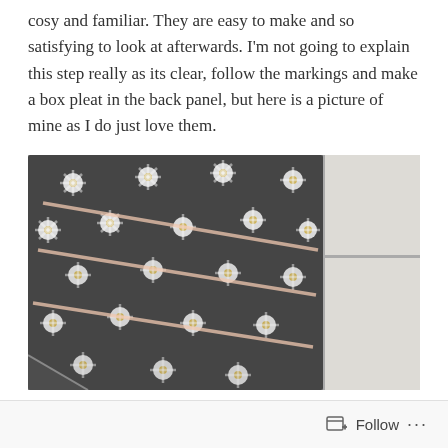cosy and familiar. They are easy to make and so satisfying to look at afterwards. I'm not going to explain this step really as its clear, follow the markings and make a box pleat in the back panel, but here is a picture of mine as I do just love them.
[Figure (photo): Close-up photo of dark grey fabric with white daisy pattern, showing diagonal chalk/basting lines marking a box pleat on the back panel, placed on a white tile surface.]
Follow ...